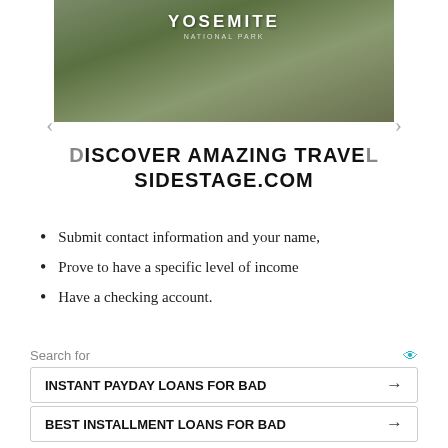[Figure (photo): Yosemite National Park landscape photo with text overlay showing 'YOSEMITE NATIONAL PARK']
DISCOVER AMAZING TRAVEL SIDESTAGE.COM
Submit contact information and your name,
Prove to have a specific level of income
Have a checking account.
Typically, when card providers claim to offer guaranteed approval, it is often followed by an asterisk. It is vital to follow the asterisk to the fine print. You should be able to
Search for
INSTANT PAYDAY LOANS FOR BAD →
BEST INSTALLMENT LOANS FOR BAD →